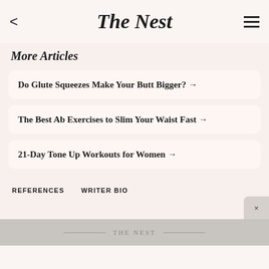The Nest
More Articles
Do Glute Squeezes Make Your Butt Bigger? →
The Best Ab Exercises to Slim Your Waist Fast →
21-Day Tone Up Workouts for Women →
REFERENCES    WRITER BIO
THE NEST